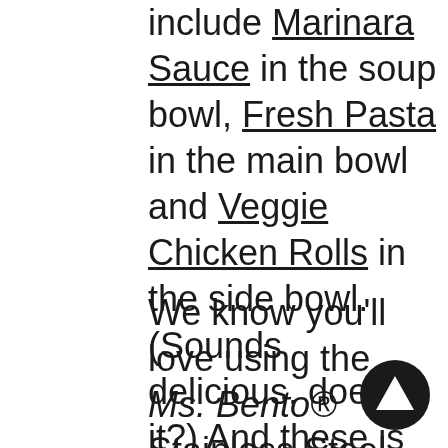include Marinara Sauce in the soup bowl, Fresh Pasta in the main bowl and Veggie Chicken Rolls in the side bowl. (Sounds delicious, doesn't it?) And these is just as scrumptious!
We know you'll love using the Ms. Bento® Stainless Steel Lunch Jar as much as we do… so try it out and share your favorite meal
[Figure (illustration): A circular black navigation/upload icon with a white upward-pointing triangle/arrow in the center]